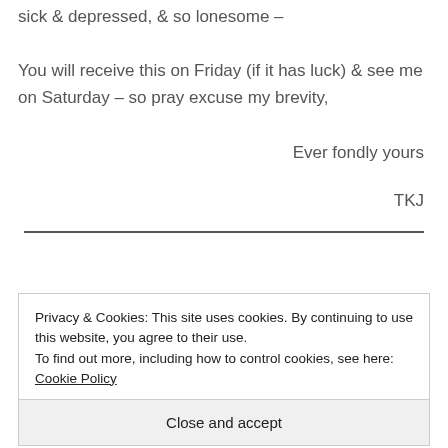sick & depressed, & so lonesome –
You will receive this on Friday (if it has luck) & see me on Saturday – so pray excuse my brevity,
Ever fondly yours
TKJ
Privacy & Cookies: This site uses cookies. By continuing to use this website, you agree to their use.
To find out more, including how to control cookies, see here: Cookie Policy
Close and accept